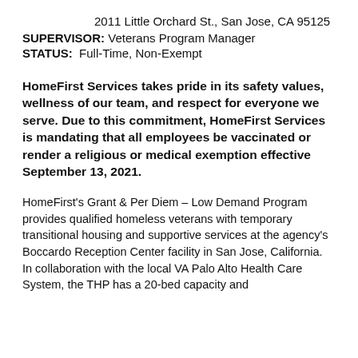2011 Little Orchard St., San Jose, CA 95125
SUPERVISOR: Veterans Program Manager
STATUS:  Full-Time, Non-Exempt
HomeFirst Services takes pride in its safety values, wellness of our team, and respect for everyone we serve. Due to this commitment, HomeFirst Services is mandating that all employees be vaccinated or render a religious or medical exemption effective September 13, 2021.
HomeFirst's Grant & Per Diem – Low Demand Program provides qualified homeless veterans with temporary transitional housing and supportive services at the agency's Boccardo Reception Center facility in San Jose, California.  In collaboration with the local VA Palo Alto Health Care System, the THP has a 20-bed capacity and